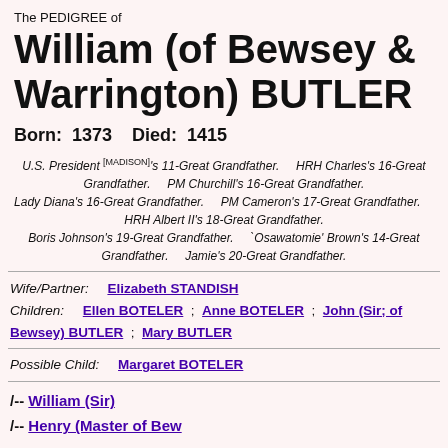The PEDIGREE of
William (of Bewsey & Warrington) BUTLER
Born: 1373   Died: 1415
U.S. President [MADISON]'s 11-Great Grandfather. HRH Charles's 16-Great Grandfather. PM Churchill's 16-Great Grandfather. Lady Diana's 16-Great Grandfather. PM Cameron's 17-Great Grandfather. HRH Albert II's 18-Great Grandfather. Boris Johnson's 19-Great Grandfather. 'Osawatomie' Brown's 14-Great Grandfather. Jamie's 20-Great Grandfather.
Wife/Partner: Elizabeth STANDISH
Children: Ellen BOTELER ; Anne BOTELER ; John (Sir; of Bewsey) BUTLER ; Mary BUTLER
Possible Child: Margaret BOTELER
/-- William (Sir)
/-- Henry (Master of Bew